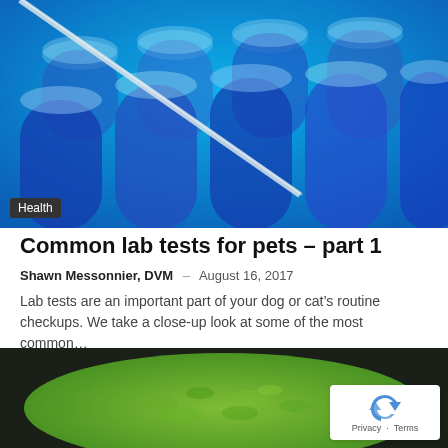[Figure (photo): Blue glass test tubes/beakers arranged in rows, with a pipette inserted diagonally, close-up laboratory photo with cyan/blue tones]
Health
Common lab tests for pets – part 1
Shawn Messonnier, DVM – August 16, 2017
Lab tests are an important part of your dog or cat's routine checkups. We take a close-up look at some of the most common...
[Figure (photo): Green powder in a round bowl, photographed from above, vibrant green color suggesting matcha or algae powder]